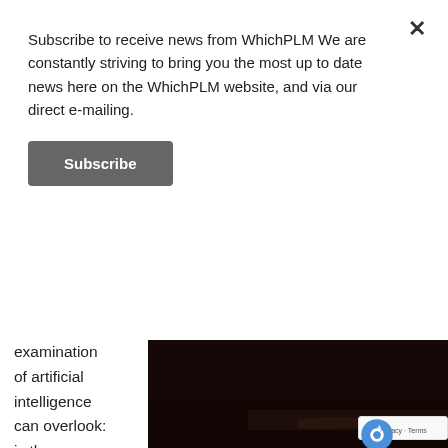Subscribe to receive news from WhichPLM We are constantly striving to bring you the most up to date news here on the WhichPLM website, and via our direct e-mailing.
Subscribe
examination of artificial intelligence can overlook: is there something that makes us special? More specifically, for our purposes, is there a natural
[Figure (photo): A dark, nearly black image showing a dark textured surface, possibly a landscape or natural scene at very low light.]